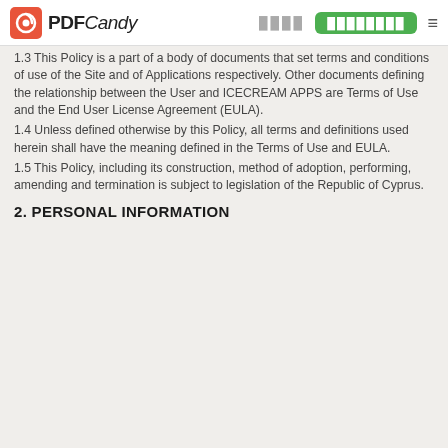PDF Candy [dots] [button] [menu]
1.3 This Policy is a part of a body of documents that set terms and conditions of use of the Site and of Applications respectively. Other documents defining the relationship between the User and ICECREAM APPS are Terms of Use and the End User License Agreement (EULA).
1.4 Unless defined otherwise by this Policy, all terms and definitions used herein shall have the meaning defined in the Terms of Use and EULA.
1.5 This Policy, including its construction, method of adoption, performing, amending and termination is subject to legislation of the Republic of Cyprus.
2. PERSONAL INFORMATION